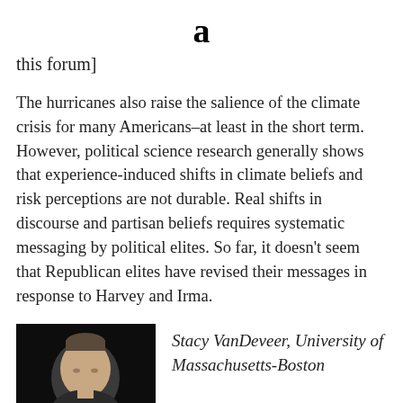a
this forum]
The hurricanes also raise the salience of the climate crisis for many Americans–at least in the short term. However, political science research generally shows that experience-induced shifts in climate beliefs and risk perceptions are not durable. Real shifts in discourse and partisan beliefs requires systematic messaging by political elites. So far, it doesn't seem that Republican elites have revised their messages in response to Harvey and Irma.
[Figure (photo): Headshot photo of a man against a dark background]
Stacy VanDeveer, University of Massachusetts-Boston